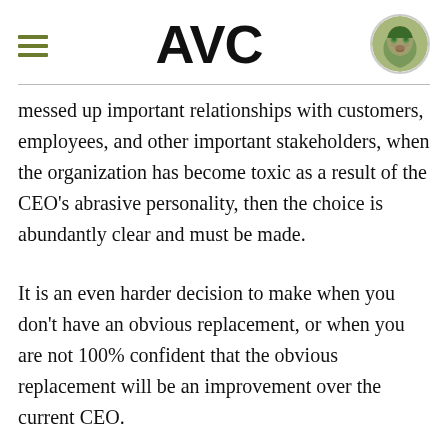AVC
messed up important relationships with customers, employees, and other important stakeholders, when the organization has become toxic as a result of the CEO’s abrasive personality, then the choice is abundantly clear and must be made.
It is an even harder decision to make when you don’t have an obvious replacement, or when you are not 100% confident that the obvious replacement will be an improvement over the current CEO.